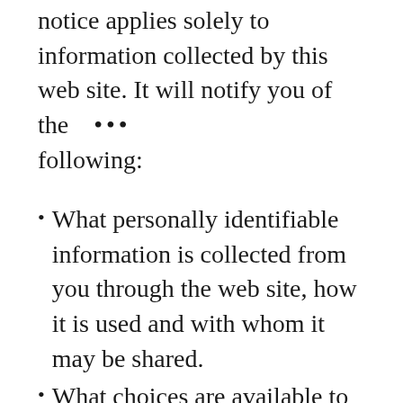notice applies solely to information collected by this web site. It will notify you of the following:
What personally identifiable information is collected from you through the web site, how it is used and with whom it may be shared.
What choices are available to you regarding the use of your data.
The security procedures in place to protect the misuse of your information.
How you can correct any inaccuracies in the information.